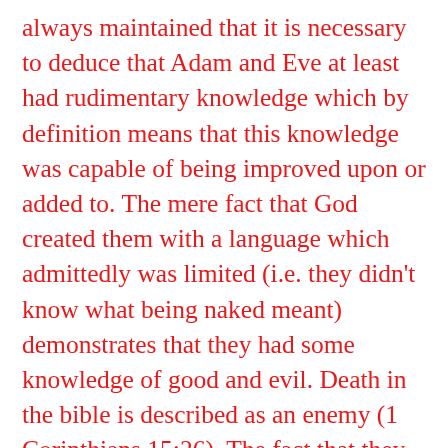always maintained that it is necessary to deduce that Adam and Eve at least had rudimentary knowledge which by definition means that this knowledge was capable of being improved upon or added to. The mere fact that God created them with a language which admittedly was limited (i.e. they didn't know what being naked meant) demonstrates that they had some knowledge of good and evil. Death in the bible is described as an enemy (1 Corinthians 15:26). The fact that they knew what it meant to die reminds us that they had at least that particular knowledge of evil. Again and as I wrote previously, when they partook of the fruit, then God imparted to them the additional propositions attributed with consuming the forbidden fruit. Whatever these propositions might have been, we at least know that it included the knowledge of nakedness. Furthermore and as I mentioned earlier, the fact that they were created in the image of God means that they had a spirit, or more casually, an incorporeal mind with a conscience. The conscience by biblical definition is an